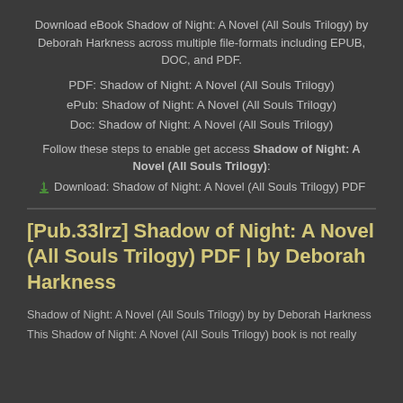Download eBook Shadow of Night: A Novel (All Souls Trilogy) by Deborah Harkness across multiple file-formats including EPUB, DOC, and PDF.
PDF: Shadow of Night: A Novel (All Souls Trilogy)
ePub: Shadow of Night: A Novel (All Souls Trilogy)
Doc: Shadow of Night: A Novel (All Souls Trilogy)
Follow these steps to enable get access Shadow of Night: A Novel (All Souls Trilogy):
Download: Shadow of Night: A Novel (All Souls Trilogy) PDF
[Pub.33lrz] Shadow of Night: A Novel (All Souls Trilogy) PDF | by Deborah Harkness
Shadow of Night: A Novel (All Souls Trilogy) by by Deborah Harkness
This Shadow of Night: A Novel (All Souls Trilogy) book is not really